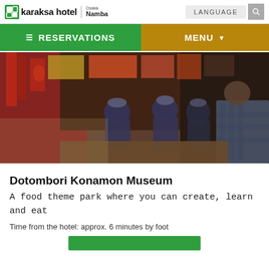karaksa hotel | Osaka Namba
RESERVATIONS
MENU
[Figure (photo): Outdoor food stall scene in Osaka with chefs in blue caps preparing food; customer in plaid shirt seen from behind; colorful signage in background]
Dotombori Konamon Museum
A food theme park where you can create, learn and eat
Time from the hotel: approx. 6 minutes by foot